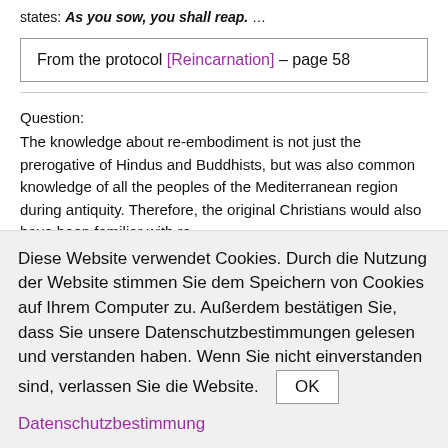states: As you sow, you shall reap. …
From the protocol [Reincarnation] – page 58
Question:
The knowledge about re-embodiment is not just the prerogative of Hindus and Buddhists, but was also common knowledge of all the peoples of the Mediterranean region during antiquity. Therefore, the original Christians would also have been familiar with re-
Diese Website verwendet Cookies. Durch die Nutzung der Website stimmen Sie dem Speichern von Cookies auf Ihrem Computer zu. Außerdem bestätigen Sie, dass Sie unsere Datenschutzbestimmungen gelesen und verstanden haben. Wenn Sie nicht einverstanden sind, verlassen Sie die Website. OK
Datenschutzbestimmung